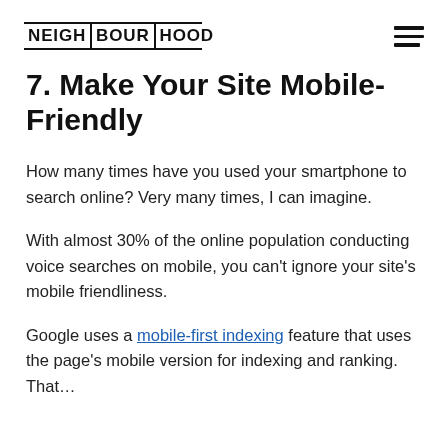NEIGHBOURHOOD
7. Make Your Site Mobile-Friendly
How many times have you used your smartphone to search online? Very many times, I can imagine.
With almost 30% of the online population conducting voice searches on mobile, you can't ignore your site's mobile friendliness.
Google uses a mobile-first indexing feature that uses the page's mobile version for indexing and ranking. That…